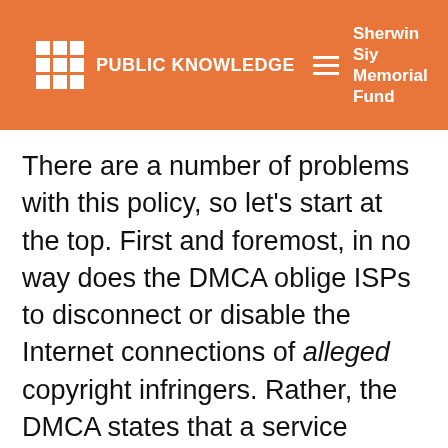PUBLIC KNOWLEDGE | Sherwin Siy Memorial Fund | Donate
There are a number of problems with this policy, so let’s start at the top. First and foremost, in no way does the DMCA oblige ISPs to disconnect or disable the Internet connections of alleged copyright infringers. Rather, the DMCA states that a service provider must remove the infringing material from its servers if a takedown notice is received and must inform a user if it receives a takedown notice on his behalf. By way of clarification, here’s the relevant section